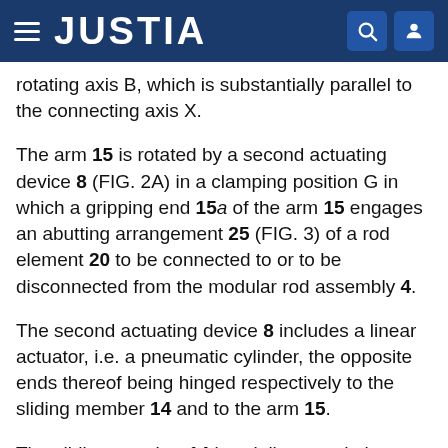JUSTIA
rotating axis B, which is substantially parallel to the connecting axis X.
The arm 15 is rotated by a second actuating device 8 (FIG. 2A) in a clamping position G in which a gripping end 15a of the arm 15 engages an abutting arrangement 25 (FIG. 3) of a rod element 20 to be connected to or to be disconnected from the modular rod assembly 4.
The second actuating device 8 includes a linear actuator, i.e. a pneumatic cylinder, the opposite ends thereof being hinged respectively to the sliding member 14 and to the arm 15.
The sliding member 14 is axially moved along a linear direction parallel to the connecting axis X by a third actuating device 9 so that the arm 5 can move a single rod element 20 when engaging the abutting